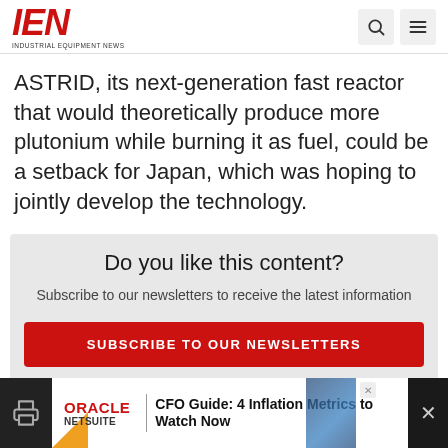IEN INDUSTRIAL EQUIPMENT NEWS
ASTRID, its next-generation fast reactor that would theoretically produce more plutonium while burning it as fuel, could be a setback for Japan, which was hoping to jointly develop the technology.
Do you like this content?
Subscribe to our newsletters to receive the latest information
SUBSCRIBE TO OUR NEWSLETTERS
[Figure (infographic): Oracle NetSuite advertisement banner: CFO Guide: 4 Inflation Metrics to Watch Now]